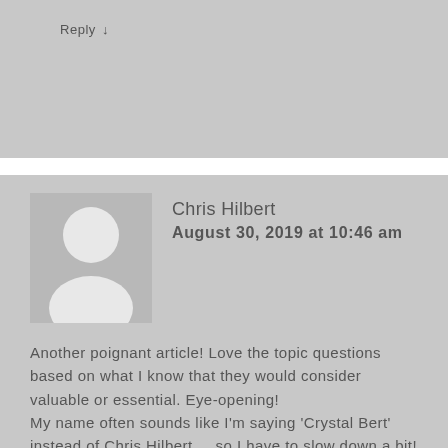Reply ↓
Chris Hilbert
August 30, 2019 at 10:46 am
Another poignant article! Love the topic questions based on what I know that they would consider valuable or essential. Eye-opening!
My name often sounds like I'm saying 'Crystal Bert' instead of Chris Hilbert.... so I have to slow down a bit!